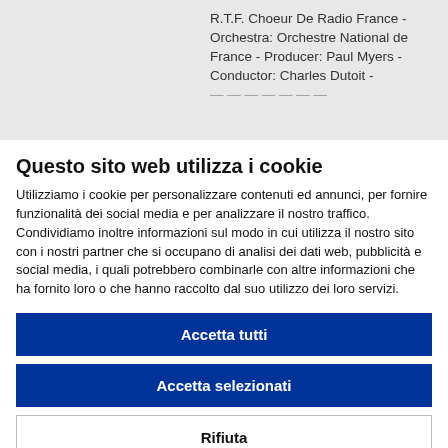R.T.F. Choeur De Radio France - Orchestra: Orchestre National de France - Producer: Paul Myers - Conductor: Charles Dutoit -
Questo sito web utilizza i cookie
Utilizziamo i cookie per personalizzare contenuti ed annunci, per fornire funzionalità dei social media e per analizzare il nostro traffico. Condividiamo inoltre informazioni sul modo in cui utilizza il nostro sito con i nostri partner che si occupano di analisi dei dati web, pubblicità e social media, i quali potrebbero combinarle con altre informazioni che ha fornito loro o che hanno raccolto dal suo utilizzo dei loro servizi.
Accetta tutti
Accetta selezionati
Rifiuta
Necessari  Preferenze  Statistiche  Marketing  Mostra dettagli